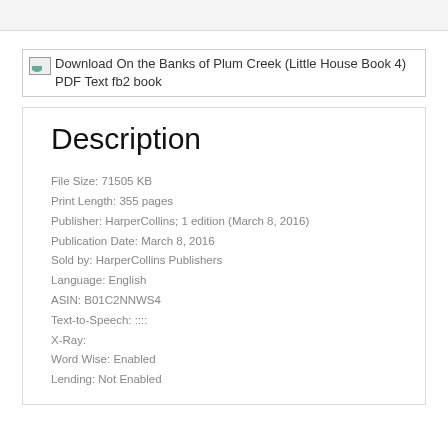[Figure (illustration): Broken image placeholder with alt text: Download On the Banks of Plum Creek (Little House Book 4) PDF Text fb2 book]
Description
File Size: 71505 KB
Print Length: 355 pages
Publisher: HarperCollins; 1 edition (March 8, 2016)
Publication Date: March 8, 2016
Sold by: HarperCollins Publishers
Language: English
ASIN: B01C2NNWS4
Text-to-Speech: ::::
X-Ray:
Word Wise: Enabled
Lending: Not Enabled